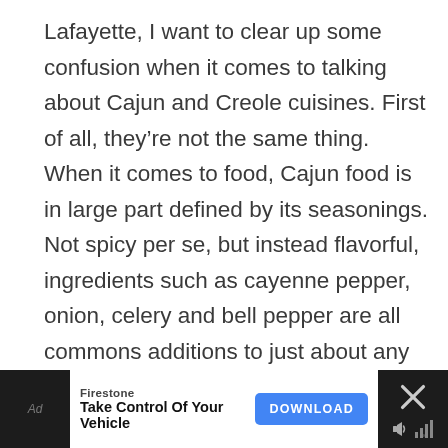Lafayette, I want to clear up some confusion when it comes to talking about Cajun and Creole cuisines. First of all, they're not the same thing. When it comes to food, Cajun food is in large part defined by its seasonings. Not spicy per se, but instead flavorful, ingredients such as cayenne pepper, onion, celery and bell pepper are all commons additions to just about any good Cajun dish.
Creole on the other hand refers to people born to settlers in French colonial Louisiana, usually in New Orleans, and included those born to parents from many different backgrounds including French, Spanish,
[Figure (screenshot): Advertisement banner at the bottom: Firestone 'Take Control Of Your Vehicle' with a blue DOWNLOAD button and a close (X) button on the right]